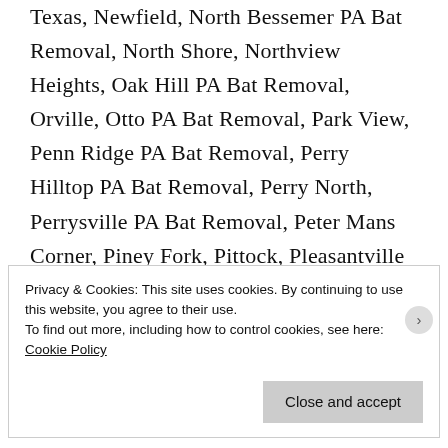Texas, Newfield, North Bessemer PA Bat Removal, North Shore, Northview Heights, Oak Hill PA Bat Removal, Orville, Otto PA Bat Removal, Park View, Penn Ridge PA Bat Removal, Perry Hilltop PA Bat Removal, Perry North, Perrysville PA Bat Removal, Peter Mans Corner, Piney Fork, Pittock, Pleasantville PA Bat Removal,
Privacy & Cookies: This site uses cookies. By continuing to use this website, you agree to their use.
To find out more, including how to control cookies, see here: Cookie Policy